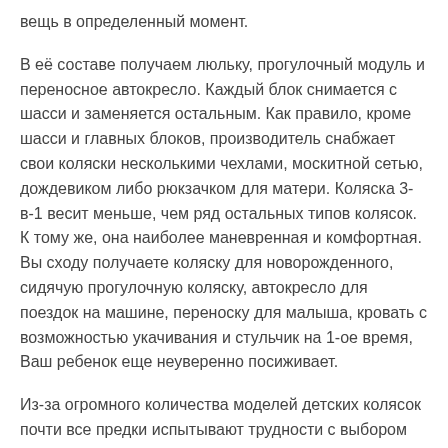вещь в определенный момент.
В её составе получаем люльку, прогулочный модуль и переносное автокресло. Каждый блок снимается с шасси и заменяется остальным. Как правило, кроме шасси и главных блоков, производитель снабжает свои коляски несколькими чехлами, москитной сетью, дождевиком либо рюкзачком для матери. Коляска 3-в-1 весит меньше, чем ряд остальных типов колясок. К тому же, она наиболее маневренная и комфортная. Вы сходу получаете коляску для новорожденного, сидячую прогулочную коляску, автокресло для поездок на машине, переноску для малыша, кровать с возможностью укачивания и стульчик на 1-ое время, Ваш ребенок еще неуверенно посиживает.
Из-за огромного количества моделей детских колясок почти все предки испытывают трудности с выбором рационального варианта. Ремонтируем компы и другую компьютерную технику у вас на дому и в кабинете. Выезд инженера бесплатный. Оплачивается лишь ремонт. Первичная диагностика неисправности бесплатна. Установка и